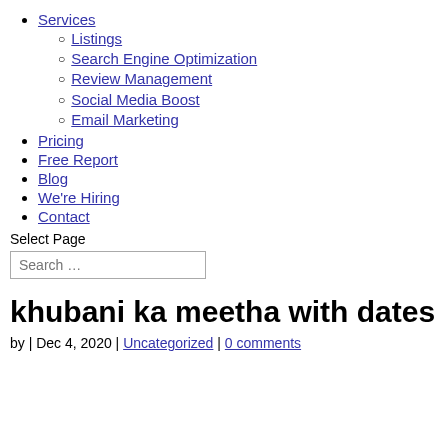Services
Listings
Search Engine Optimization
Review Management
Social Media Boost
Email Marketing
Pricing
Free Report
Blog
We're Hiring
Contact
Select Page
khubani ka meetha with dates
by | Dec 4, 2020 | Uncategorized | 0 comments